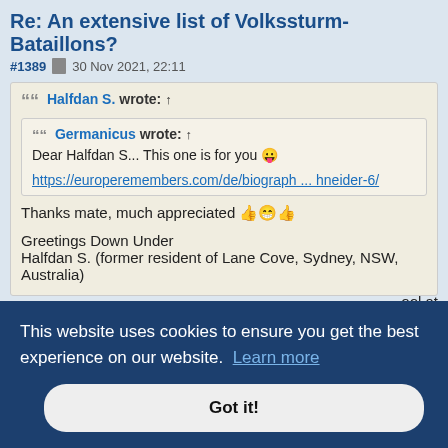Re: An extensive list of Volkssturm-Bataillons?
#1389  30 Nov 2021, 22:11
Halfdan S. wrote: ↑
Germanicus wrote: ↑
Dear Halfdan S... This one is for you 😛
https://europeremembers.com/de/biograph ... hneider-6/
Thanks mate, much appreciated 👍😁👍
Greetings Down Under
Halfdan S. (former resident of Lane Cove, Sydney, NSW, Australia)
ool at
This website uses cookies to ensure you get the best experience on our website.  Learn more
Got it!
Cheers